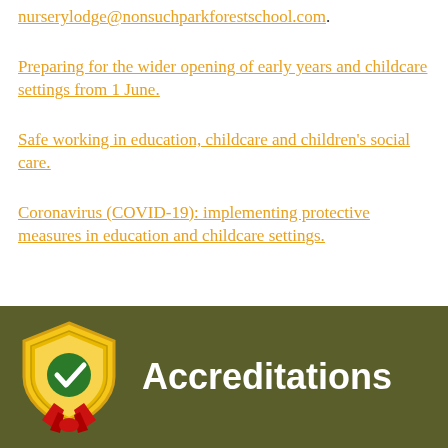nurserylodge@nonsuchparkforestschool.com.
Preparing for the wider opening of early years and childcare settings from 1 June.
Safe working in education, childcare and children's social care.
Coronavirus (COVID-19): implementing protective measures in education and childcare settings.
Accreditations